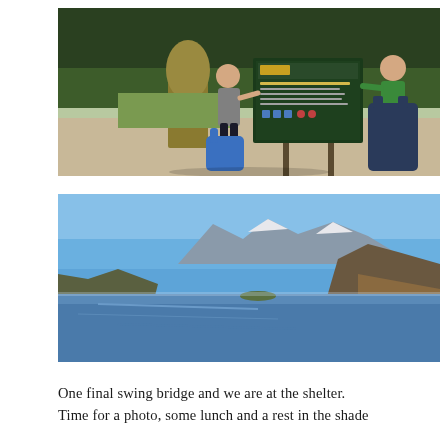[Figure (photo): Two hikers posing in front of a Routeburn Track sign in New Zealand. A woman in athletic wear stands on the left with a large blue backpack on the ground, a man in a green shirt leans on the sign from behind on the right. Dense green forest in the background.]
[Figure (photo): Scenic landscape photo of a calm mountain lake (likely Lake Wakatipu near Queenstown, New Zealand) with snow-capped mountains in the background under a clear blue sky. Brown hills and a winding road visible on the right.]
One final swing bridge and we are at the shelter. Time for a photo, some lunch and a rest in the shade